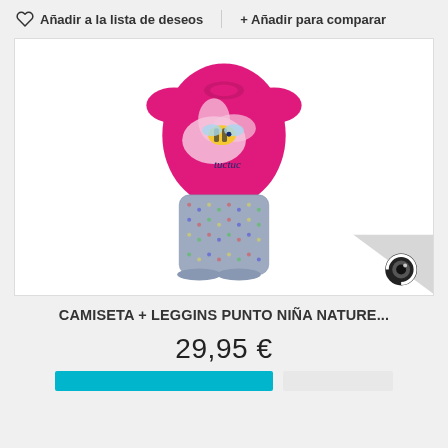Añadir a la lista de deseos   + Añadir para comparar
[Figure (photo): Product photo of a girl's pink t-shirt with flower and bee graphic (tuctuc brand) paired with blue patterned leggings/shorts set, on white background]
CAMISETA + LEGGINS PUNTO NIÑA NATURE...
29,95 €